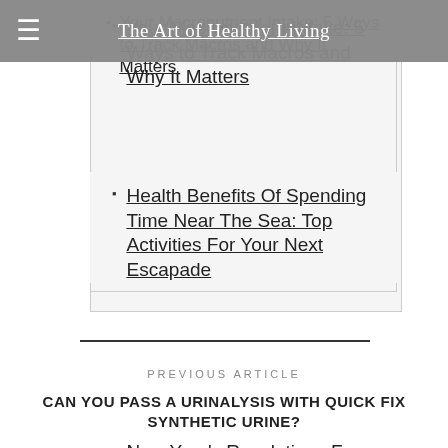The Art of Healthy Living
Your Macronutrient Intake: 5 Ways to Track Macros and Why It Matters
Health Benefits Of Spending Time Near The Sea: Top Activities For Your Next Escapade
New Year's Resolutions For Your Beauty Routine
PREVIOUS ARTICLE
CAN YOU PASS A URINALYSIS WITH QUICK FIX SYNTHETIC URINE?